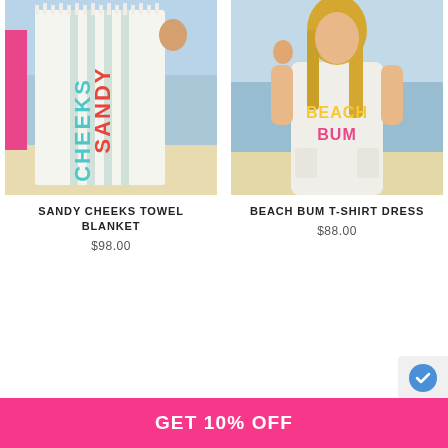[Figure (photo): Person holding a white striped beach towel with 'SANDY CHEEKS' text on a beach background]
SANDY CHEEKS TOWEL BLANKET
$98.00
[Figure (photo): Blonde woman on a beach wearing a white T-shirt dress with 'BEACH BUM' text in colorful letters]
BEACH BUM T-SHIRT DRESS
$88.00
GET 10% OFF